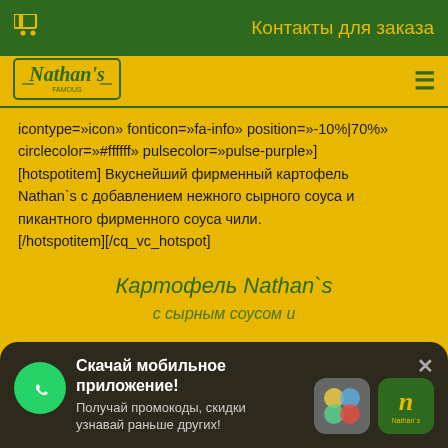Контакты для заказа
[Figure (logo): Nathan's Famous logo]
icontype=»icon» fonticon=»fa-info» position=»-10%|70%» circlecolor=»#ffffff» pulsecolor=»pulse-purple»] [hotspotitem] Вкуснейший фирменный картофель Nathan`s с добавлением нежного сырного соуса и пикантного фирменного соуса чили. [/hotspotitem][/cq_vc_hotspot]
Картофель Nathan`s
с сырным соусом и
Скачай мобильное приложение! Получай промокоды, скидки узнавай раньше других!